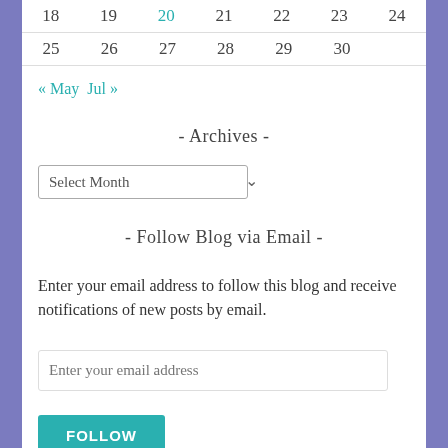| 18 | 19 | 20 | 21 | 22 | 23 | 24 |
| 25 | 26 | 27 | 28 | 29 | 30 |  |
« May   Jul »
- Archives -
Select Month
- Follow Blog via Email -
Enter your email address to follow this blog and receive notifications of new posts by email.
Enter your email address
FOLLOW